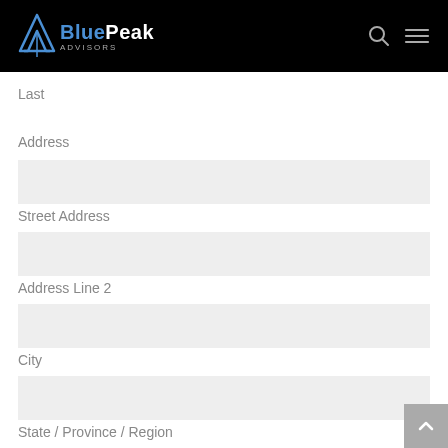BluePeak Advisors
Last
Address
Street Address
Address Line 2
City
State / Province / Region